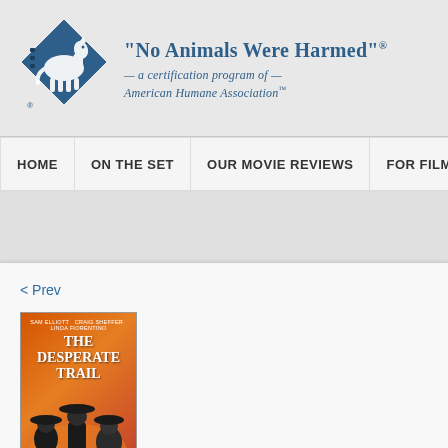[Figure (logo): American Humane Association diamond-shaped logo with horse silhouette in blue]
“No Animals Were Harmed”® — a certification program of — American Humane Association™
HOME | ON THE SET | OUR MOVIE REVIEWS | FOR FILM-MAKERS
< Prev
[Figure (photo): Movie poster for 'The Desperate Trail' featuring Sam Elliott, Craig Sheffer, Linda Fiorentino on an orange background]